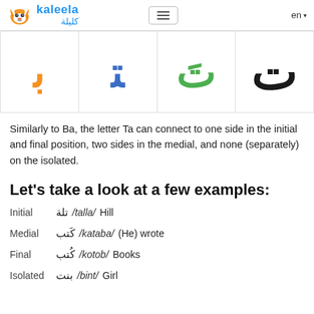kaleela كليلة
[Figure (illustration): Four Arabic letter Ta forms displayed in colored cells: orange (final/joined), blue (medial), green (initial), black (isolated)]
Similarly to Ba, the letter Ta can connect to one side in the initial and final position, two sides in the medial, and none (separately) on the isolated.
Let's take a look at a few examples:
Initial تلة /talla/ Hill
Medial كَتب /kataba/ (He) wrote
Final كُتب /kotob/ Books
Isolated بنت /bint/ Girl